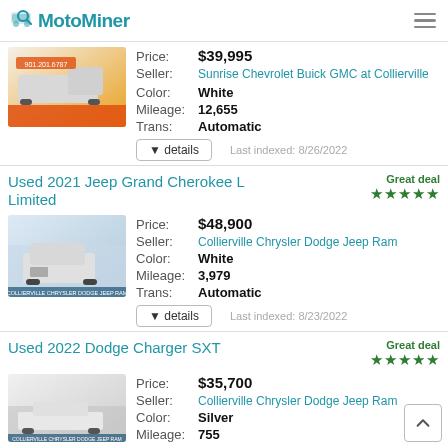MotoMiner
Price: $39,995
Seller: Sunrise Chevrolet Buick GMC at Collierville
Color: White
Mileage: 12,655
Trans: Automatic
Last indexed: 8/26/2022
Used 2021 Jeep Grand Cherokee L Limited
Great deal ★★★★★
Price: $48,900
Seller: Collierville Chrysler Dodge Jeep Ram
Color: White
Mileage: 3,979
Trans: Automatic
Last indexed: 8/23/2022
Used 2022 Dodge Charger SXT
Great deal ★★★★★
Price: $35,700
Seller: Collierville Chrysler Dodge Jeep Ram
Color: Silver
Mileage: 755